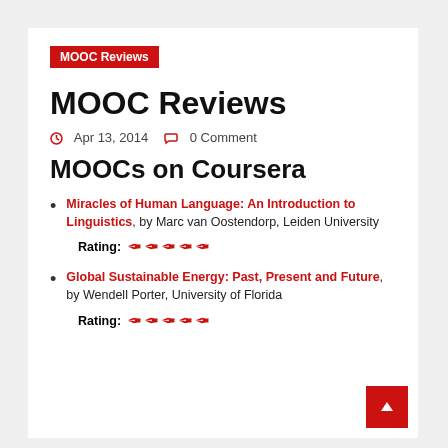MOOC Reviews
MOOC Reviews
Apr 13, 2014   0 Comment
MOOCs on Coursera
Miracles of Human Language: An Introduction to Linguistics, by Marc van Oostendorp, Leiden University
Rating: ✦✦✦✦✦
Global Sustainable Energy: Past, Present and Future, by Wendell Porter, University of Florida
Rating: ✦✦✦✦✦